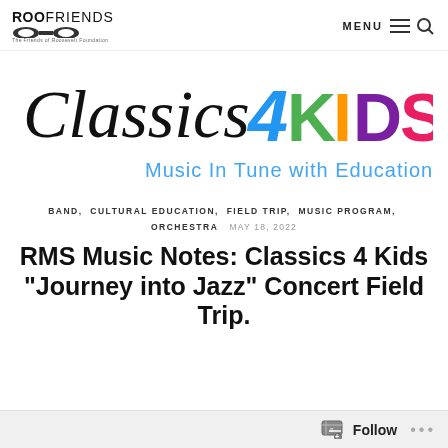ROO FRIENDS The Friends of Roosevelt Foundation | MENU
[Figure (logo): Classics 4 Kids logo with tagline 'Music In Tune with Education'. 'Classics' in black script, '4' in blue bold, 'KIDS' in multicolor large letters (K-green, I-orange, D-blue, S-pink).]
BAND, CULTURAL EDUCATION, FIELD TRIP, MUSIC PROGRAM, ORCHESTRA  MAY 18, 2022
RMS Music Notes: Classics 4 Kids “Journey into Jazz” Concert Field Trip.
Follow